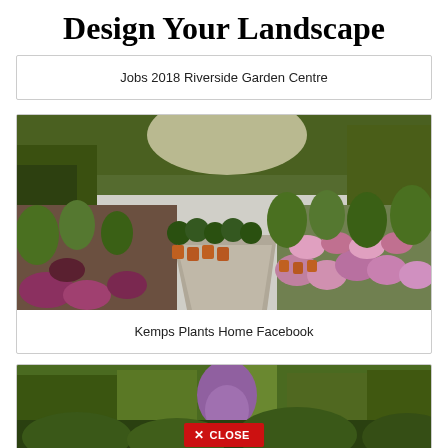Design Your Landscape
Jobs 2018 Riverside Garden Centre
[Figure (photo): Aerial view of a garden centre with colourful potted flowers and plants arranged along a gravel path, showing hydrangeas and topiary balls]
Kemps Plants Home Facebook
[Figure (photo): Garden centre photo partially visible, with a red CLOSE button overlay at the bottom]